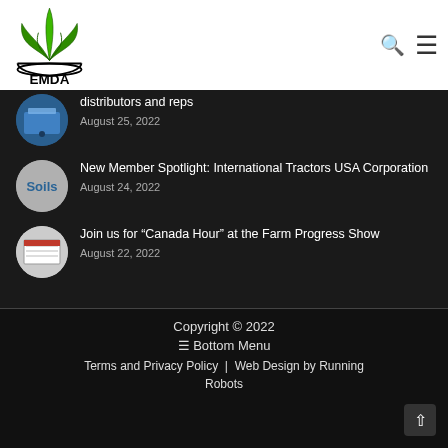[Figure (logo): EMDA logo — green leaf/plant design above text EMDA in black]
distributors and reps
August 25, 2022
New Member Spotlight: International Tractors USA Corporation
August 24, 2022
Join us for “Canada Hour” at the Farm Progress Show
August 22, 2022
Copyright © 2022
≡ Bottom Menu
Terms and Privacy Policy  |  Web Design by Running Robots